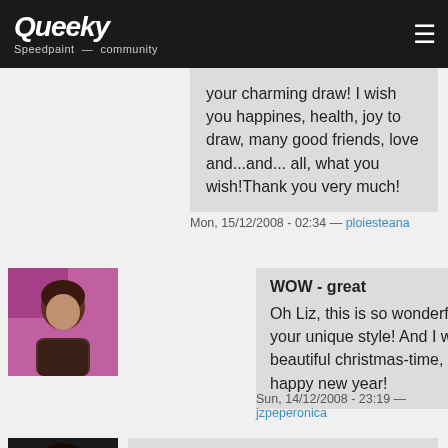Queeky Speedpaint community
your charming draw! I wish you happines, health, joy to draw, many good friends, love and...and... all, what you wish!Thank you very much!
Mon, 15/12/2008 - 02:34 — ploiesteana
[Figure (photo): User avatar photo of jzpeperonica, a woman with brown hair against a pink background]
WOW - great
Oh Liz, this is so wonderful, because of your unique style! And I wish you a beautiful christmas-time, too! And happy new year!
Sun, 14/12/2008 - 23:19 — jzpeperonica
[Figure (photo): User avatar photo of a person with dark hair and beard against a dark background]
hello liz!